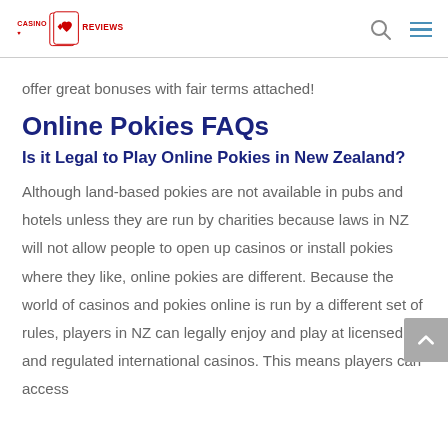Casino Reviews
offer great bonuses with fair terms attached!
Online Pokies FAQs
Is it Legal to Play Online Pokies in New Zealand?
Although land-based pokies are not available in pubs and hotels unless they are run by charities because laws in NZ will not allow people to open up casinos or install pokies where they like, online pokies are different. Because the world of casinos and pokies online is run by a different set of rules, players in NZ can legally enjoy and play at licensed and regulated international casinos. This means players can access